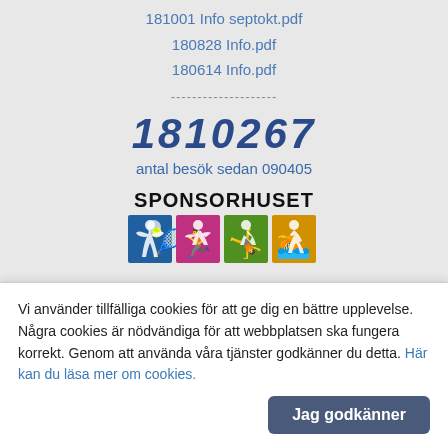181001 Info septokt.pdf
180828 Info.pdf
180614 Info.pdf
--------------------
1810267
antal besök sedan 090405
[Figure (logo): Sponsorhuset logo with text SPONSORHUSET and four colored sport icons (blue, pink, green, yellow)]
----------------
SERVICE
Städning motionsanläggningen
V14 (4-10/4) Ritva Kärkkäinen o Stefan Nyberg
V16 (18-24/4) Marlene o Jonas Engström
Vi använder tillfälliga cookies för att ge dig en bättre upplevelse. Några cookies är nödvändiga för att webbplatsen ska fungera korrekt. Genom att använda våra tjänster godkänner du detta. Här kan du läsa mer om cookies.